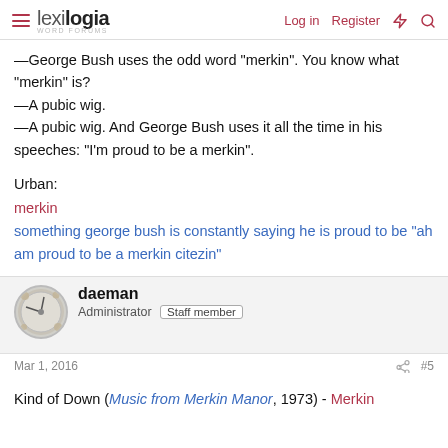lexilogia | Log in | Register
—George Bush uses the odd word "merkin". You know what "merkin" is?
—A pubic wig.
—A pubic wig. And George Bush uses it all the time in his speeches: "I'm proud to be a merkin".
Urban:
merkin
something george bush is constantly saying he is proud to be "ah am proud to be a merkin citezin"
daeman
Administrator  Staff member
Mar 1, 2016  #5
Kind of Down (Music from Merkin Manor, 1973) - Merkin